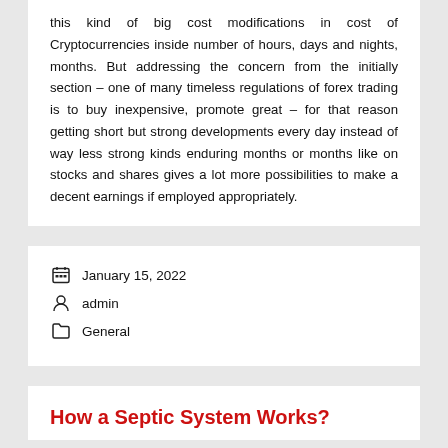this kind of big cost modifications in cost of Cryptocurrencies inside number of hours, days and nights, months. But addressing the concern from the initially section – one of many timeless regulations of forex trading is to buy inexpensive, promote great – for that reason getting short but strong developments every day instead of way less strong kinds enduring months or months like on stocks and shares gives a lot more possibilities to make a decent earnings if employed appropriately.
January 15, 2022
admin
General
How a Septic System Works?